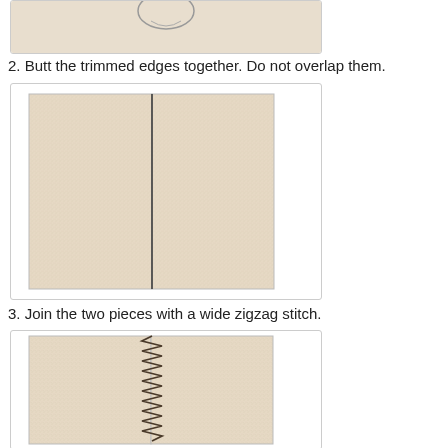[Figure (illustration): Partial view of step 1 illustration showing trimmed fabric edges (top portion cut off, only bottom visible)]
2. Butt the trimmed edges together. Do not overlap them.
[Figure (illustration): Two rectangular fabric pieces butted together along a vertical center seam line, edges touching but not overlapping]
3. Join the two pieces with a wide zigzag stitch.
[Figure (illustration): Two rectangular fabric pieces joined with a wide zigzag stitch along the center seam, zigzag stitching visible as dark thread crossing back and forth over the seam]